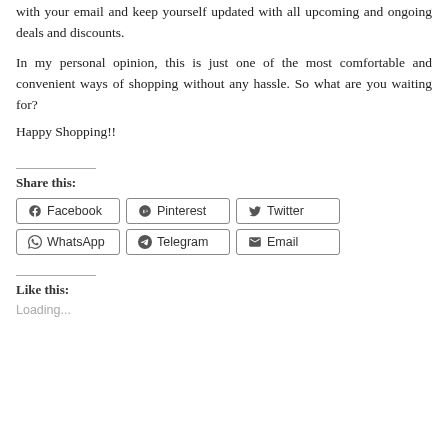with your email and keep yourself updated with all upcoming and ongoing deals and discounts.
In my personal opinion, this is just one of the most comfortable and convenient ways of shopping without any hassle. So what are you waiting for?
Happy Shopping!!
Share this:
Facebook | Pinterest | Twitter | WhatsApp | Telegram | Email
Like this:
Loading...